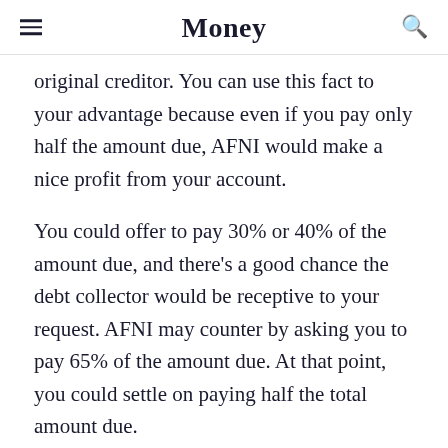Money
original creditor. You can use this fact to your advantage because even if you pay only half the amount due, AFNI would make a nice profit from your account.
You could offer to pay 30% or 40% of the amount due, and there's a good chance the debt collector would be receptive to your request. AFNI may counter by asking you to pay 65% of the amount due. At that point, you could settle on paying half the total amount due.